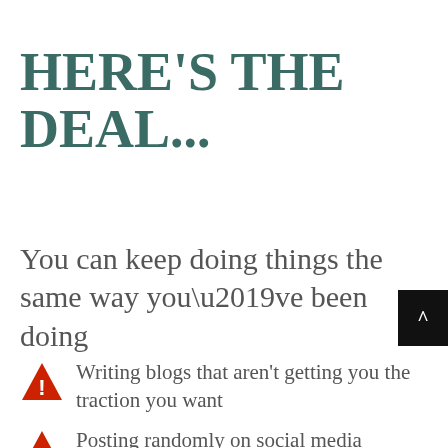HERE'S THE DEAL...
You can keep doing things the same way you’ve been doing
Writing blogs that aren’t getting you the traction you want
Posting randomly on social media